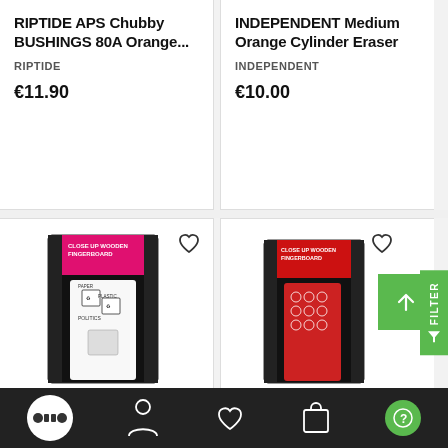RIPTIDE APS Chubby BUSHINGS 80A Orange...
RIPTIDE
€11.90
INDEPENDENT Medium Orange Cylinder Eraser
INDEPENDENT
€10.00
[Figure (photo): Fingerboard product in white/green packaging labeled CLOSE UP WOODEN FINGERBOARD with recycling theme graphics]
[Figure (photo): Fingerboard product in red packaging labeled CLOSE UP WOODEN FINGERBOARD]
[Figure (other): Bottom navigation bar with logo, person icon, heart icon, bag icon, and help icon on dark background]